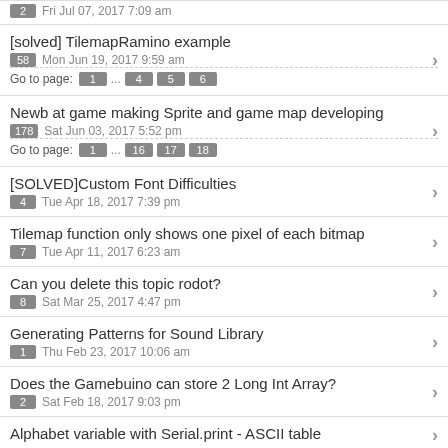2  Fri Jul 07, 2017 7:09 am
[solved] TilemapRamino example
58  Mon Jun 19, 2017 9:59 am
Go to page: 1 ... 4 5 6
Newb at game making Sprite and game map developing
178  Sat Jun 03, 2017 5:52 pm
Go to page: 1 ... 16 17 18
[SOLVED]Custom Font Difficulties
4  Tue Apr 18, 2017 7:39 pm
Tilemap function only shows one pixel of each bitmap
7  Tue Apr 11, 2017 6:23 am
Can you delete this topic rodot?
8  Sat Mar 25, 2017 4:47 pm
Generating Patterns for Sound Library
1  Thu Feb 23, 2017 10:06 am
Does the Gamebuino can store 2 Long Int Array?
2  Sat Feb 18, 2017 9:03 pm
Alphabet variable with Serial.print - ASCII table